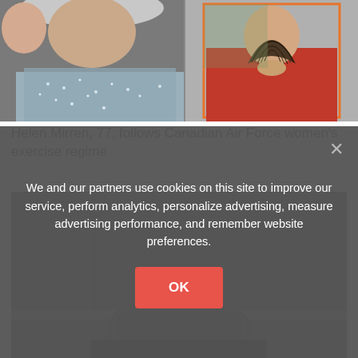[Figure (photo): Two photos side by side: left shows a woman with grey hair wearing a sparkly/sequined outfit, right shows a woman in red holding a dark folding fan]
Helen Mirren, 77, follows Canadian Air Force women's exercise regime
[Figure (photo): Photo of the top of a person's grey-haired head, partial view in front of a building interior]
We and our partners use cookies on this site to improve our service, perform analytics, personalize advertising, measure advertising performance, and remember website preferences.